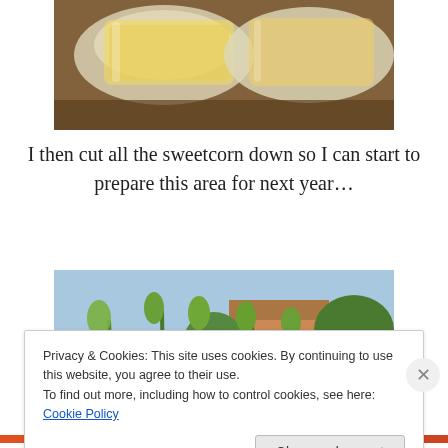[Figure (photo): Photo of sweetcorn kernels in plastic bags on a wooden surface, partially cropped at top of page]
I then cut all the sweetcorn down so I can start to prepare this area for next year…
[Figure (photo): Photo of tall sweetcorn plants growing in a garden, with a greenhouse and house visible in the background]
Privacy & Cookies: This site uses cookies. By continuing to use this website, you agree to their use.
To find out more, including how to control cookies, see here: Cookie Policy
Close and accept